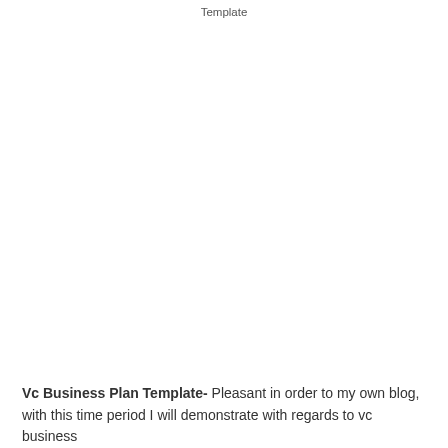Template
Vc Business Plan Template- Pleasant in order to my own blog, with this time period I will demonstrate with regards to vc business